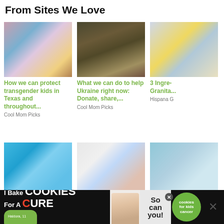From Sites We Love
[Figure (photo): Close-up of a closed eye with blue and purple eyeshadow makeup]
How we can protect transgender kids in Texas and throughout...
Cool Mom Picks
[Figure (photo): Two men taking a selfie in a dimly lit indoor setting]
What we can do to help Ukraine right now: Donate, share,...
Cool Mom Picks
[Figure (photo): Bowl of yellow granita or crushed ice dessert with dark background]
3 Ingre- Granita...
Hispana G
[Figure (photo): LEGO minifigure characters arranged on a blue background]
[Figure (photo): Overhead view of a plate with cookies/donuts covered in colorful sprinkles]
[Figure (photo): Partial view of a third article image, appears to be a person]
[Figure (screenshot): Advertisement banner: I Bake COOKIES For A CURE - Haldora, 11 Cancer Survivor - So can you! - cookies for kids cancer]